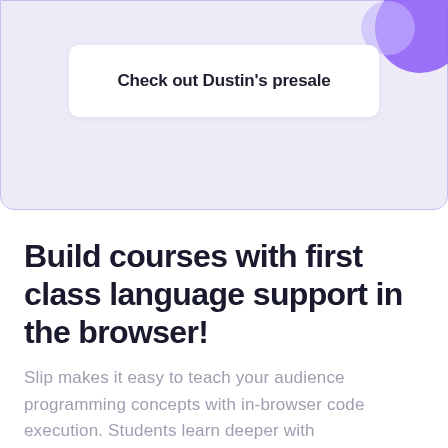[Figure (screenshot): Card UI element with light purple/lavender background and rounded border, containing a white button labeled 'Check out Dustin's presale'. A purple decorative blob is visible in the top-right corner.]
Build courses with first class language support in the browser!
Slip makes it easy to teach your audience programming concepts with in-browser code execution. Students learn deeper with